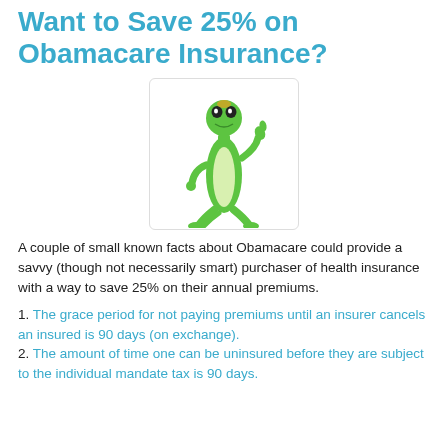Want to Save 25% on Obamacare Insurance?
[Figure (illustration): A cartoon green gecko/lizard standing upright giving a thumbs up, on a white background with a light border.]
A couple of small known facts about Obamacare could provide a savvy (though not necessarily smart) purchaser of health insurance with a way to save 25% on their annual premiums.
1. The grace period for not paying premiums until an insurer cancels an insured is 90 days (on exchange).
2. The amount of time one can be uninsured before they are subject to the individual mandate tax is 90 days.